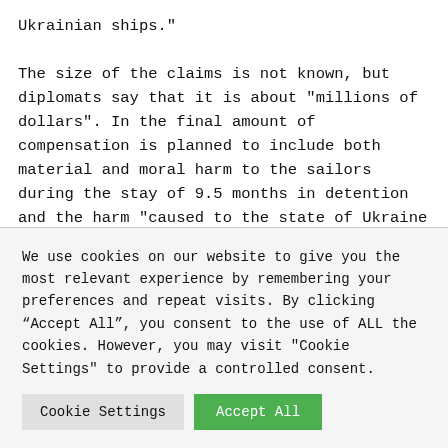Ukrainian ships."

The size of the claims is not known, but diplomats say that it is about "millions of dollars". In the final amount of compensation is planned to include both material and moral harm to the sailors during the stay of 9.5 months in detention and the harm "caused to the state of Ukraine for the violation of her rights." The lawyers have not forgotten about the "loss" on Board the ships toilets and small interior items: money will be needed for
We use cookies on our website to give you the most relevant experience by remembering your preferences and repeat visits. By clicking “Accept All”, you consent to the use of ALL the cookies. However, you may visit "Cookie Settings" to provide a controlled consent.